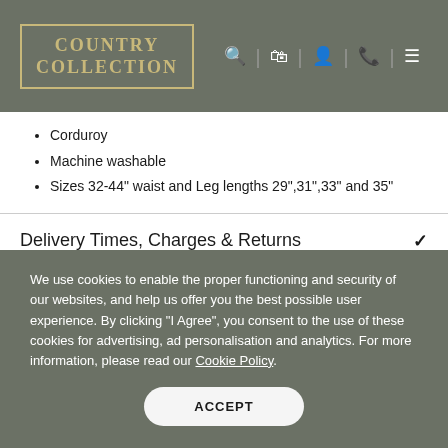COUNTRY COLLECTION
Corduroy
Machine washable
Sizes 32-44" waist and Leg lengths 29",31",33" and 35"
Delivery Times, Charges & Returns
Size Guide
We use cookies to enable the proper functioning and security of our websites, and help us offer you the best possible user experience. By clicking "I Agree", you consent to the use of these cookies for advertising, ad personalisation and analytics. For more information, please read our Cookie Policy.
ACCEPT